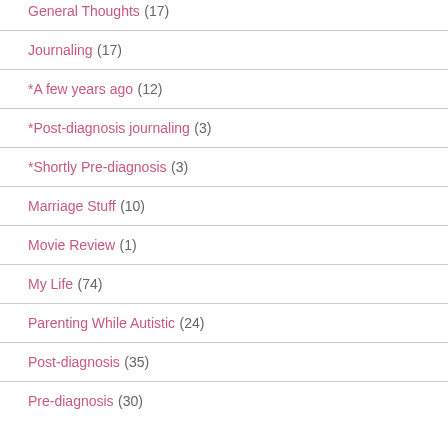General Thoughts (17)
Journaling (17)
*A few years ago (12)
*Post-diagnosis journaling (3)
*Shortly Pre-diagnosis (3)
Marriage Stuff (10)
Movie Review (1)
My Life (74)
Parenting While Autistic (24)
Post-diagnosis (35)
Pre-diagnosis (30)